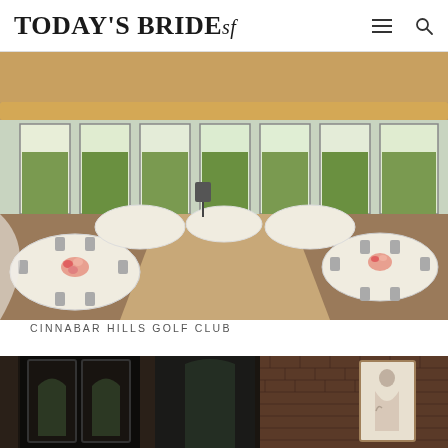TODAY'S BRIDEsf
[Figure (photo): Interior of Cinnabar Hills Golf Club banquet hall set up for a wedding reception. Round tables with white linens, chiavari chairs, floral centerpieces, and a central dance floor. Large windows surround the room with views of greenery outside. Warm amber lighting along the ceiling.]
CINNABAR HILLS GOLF CLUB
[Figure (photo): Dark interior venue with black double doors, arched windows, brick walls and a decorative poster or print on the wall, suggesting an upscale event space.]